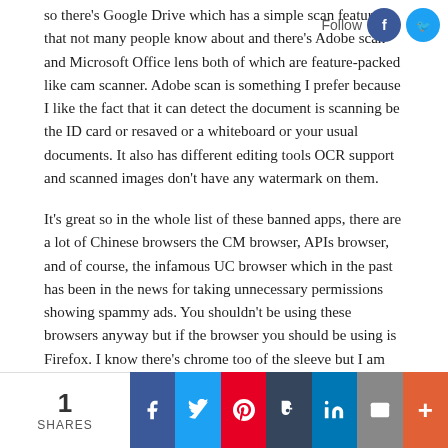so there's Google Drive which has a simple scan feature that not many people know about and there's Adobe scan and Microsoft Office lens both of which are feature-packed like cam scanner. Adobe scan is something I prefer because I like the fact that it can detect the document is scanning be the ID card or resaved or a whiteboard or your usual documents. It also has different editing tools OCR support and scanned images don't have any watermark on them.
It's great so in the whole list of these banned apps, there are a lot of Chinese browsers the CM browser, APIs browser, and of course, the infamous UC browser which in the past has been in the news for taking unnecessary permissions showing spammy ads. You shouldn't be using these browsers anyway but if the browser you should be using is Firefox. I know there's chrome too of the sleeve but I am recommending Firefox for its privacy-focused approach. First of all, Firefox brings a clean and blood-free experience, unlike the UC browser. It's focused on privacy and security, it blocks a lot of trackers automatically so that's
1 SHARES | f | t | p | t | in | mail | +